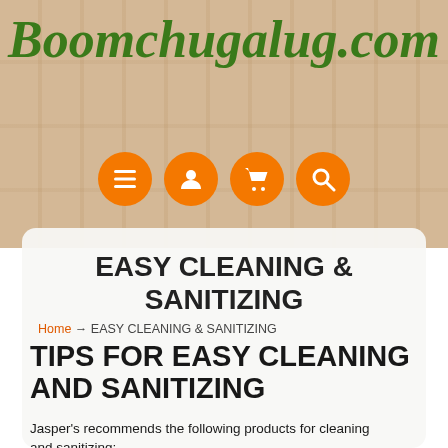Boomchugalug.com
[Figure (infographic): Four orange circular navigation icons: menu (hamburger), user/account, shopping cart, and search (magnifying glass)]
EASY CLEANING & SANITIZING
Home → EASY CLEANING & SANITIZING
TIPS FOR EASY CLEANING AND SANITIZING
Jasper's recommends the following products for cleaning and sanitizing: